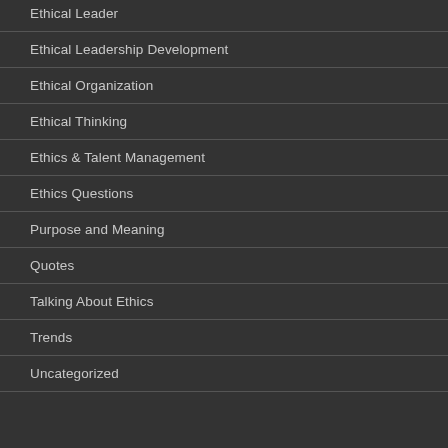Ethical Leader
Ethical Leadership Development
Ethical Organization
Ethical Thinking
Ethics & Talent Management
Ethics Questions
Purpose and Meaning
Quotes
Talking About Ethics
Trends
Uncategorized